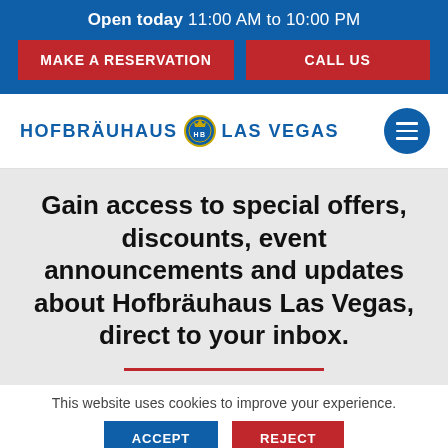Open today 11:00 AM to 10:00 PM
MAKE A RESERVATION
CALL US
HOFBRÄUHAUS LAS VEGAS
Gain access to special offers, discounts, event announcements and updates about Hofbräuhaus Las Vegas, direct to your inbox.
This website uses cookies to improve your experience.
ACCEPT
REJECT